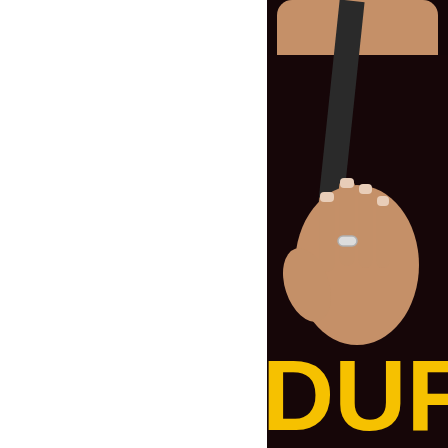[Figure (photo): Close-up photo of a person wearing a black t-shirt with yellow text/graphics, holding their hand to their chest with a silver ring on one finger, with a backpack strap visible]
IMAGE: Tally tries the nana.
I have to confess, I did hesitate... looked like a giant purplish fu... understanding of anatomy. H... ordering maciza (plain meat c... feel like a character flaw: